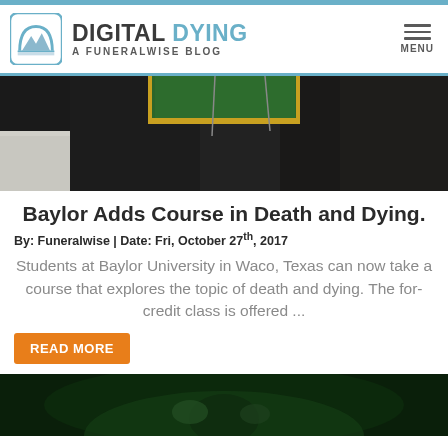DIGITAL DYING — A FUNERALWISE BLOG
[Figure (photo): Partial view of graduation gown and green/gold academic regalia against dark background]
Baylor Adds Course in Death and Dying.
By: Funeralwise | Date: Fri, October 27th, 2017
Students at Baylor University in Waco, Texas can now take a course that explores the topic of death and dying. The for-credit class is offered ...
READ MORE
[Figure (photo): Person in green light, partially visible, dark background]